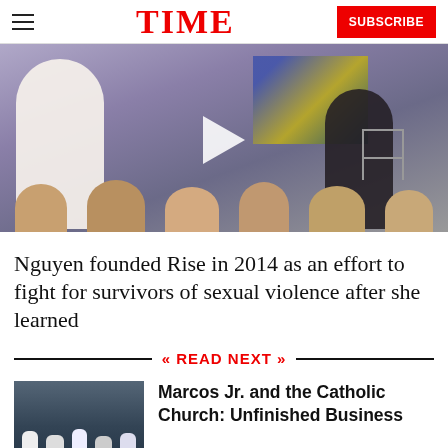TIME  SUBSCRIBE
[Figure (photo): Video thumbnail showing two women on stage at an event, with an audience visible in the foreground and an abstract painting in the background. A white play button triangle is overlaid in the center.]
Nguyen founded Rise in 2014 as an effort to fight for survivors of sexual violence after she learned
READ NEXT
[Figure (photo): Thumbnail image of a protest or police scene with people in uniforms.]
Marcos Jr. and the Catholic Church: Unfinished Business